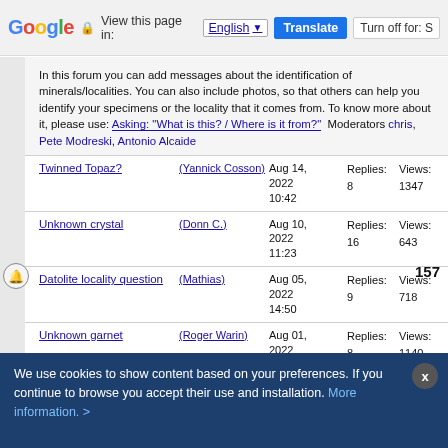Google  View this page in: English [▼]  Translate  Turn off for: S
In this forum you can add messages about the identification of minerals/localities. You can also include photos, so that others can help you identify your specimens or the locality that it comes from. To know more about it, please use: Asking: "What is this? / Where is it from?"  Moderators chris, Pete Modreski, Antonio Alcaide
| Topic | Author | Date | Replies | Views |
| --- | --- | --- | --- | --- |
| Twinned Topaz? | (Yannick Cosson) | Aug 14, 2022 10:42 | Replies: 8 | Views: 1347 |
| Unknown crystal | (Donn C.) | Aug 10, 2022 11:23 | Replies: 16 | Views: 643 |
| Datolite locality question | (Mathias) | Aug 05, 2022 14:50 | Replies: 9 | Views: 718 |
| Unknown garnet | (Roger Warin) | Aug 01, 2022 23:43 | Replies: 8 | Views: 1140 |
| Question about Aquamarine | (Roger Warin) | Aug 01, 2022 23:37 | Replies: 5 | Views: 594 |
| Linarite | (Forrestblyth) | Jun 30, 2022 16:27 | Replies: 1 | Views: 389 |
| Quartz confusion | (Nirvash Heera) | Jun 28, 2022 | Replies: 2 | Views: 555 |
We use cookies to show content based on your preferences. If you continue to browse you accept their use and installation. More information. >